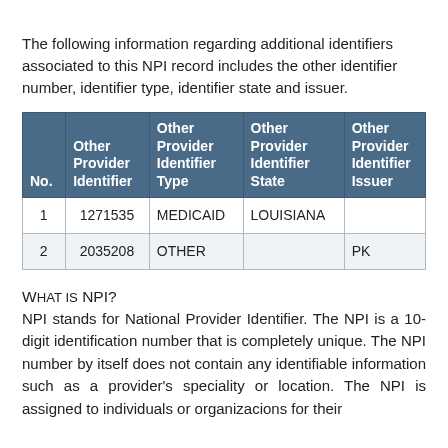The following information regarding additional identifiers associated to this NPI record includes the other identifier number, identifier type, identifier state and issuer.
| No. | Other Provider Identifier | Other Provider Identifier Type | Other Provider Identifier State | Other Provider Identifier Issuer |
| --- | --- | --- | --- | --- |
| 1 | 1271535 | MEDICAID | LOUISIANA |  |
| 2 | 2035208 | OTHER |  | PK |
What is NPI?
NPI stands for National Provider Identifier. The NPI is a 10-digit identification number that is completely unique. The NPI number by itself does not contain any identifiable information such as a provider's speciality or location. The NPI is assigned to individuals or organizacions for their